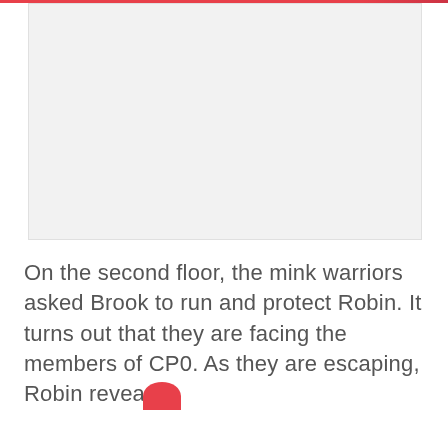[Figure (photo): Large image placeholder area with light gray background, representing a manga/comic page image that is cropped or not loaded.]
On the second floor, the mink warriors asked Brook to run and protect Robin. It turns out that they are facing the members of CP0. As they are escaping, Robin reveals